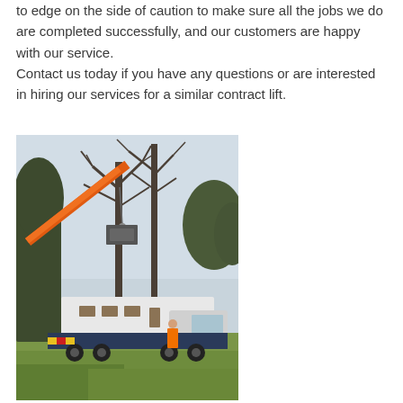to edge on the side of caution to make sure all the jobs we do are completed successfully, and our customers are happy with our service. Contact us today if you have any questions or are interested in hiring our services for a similar contract lift.
[Figure (photo): Outdoor photograph showing a large crane with an orange boom extended among bare trees, lifting a white cabin or modular building placed on a heavy truck trailer. A worker in an orange hi-vis suit stands nearby on a grassy area. The scene appears to be in a park or rural setting on an overcast day.]